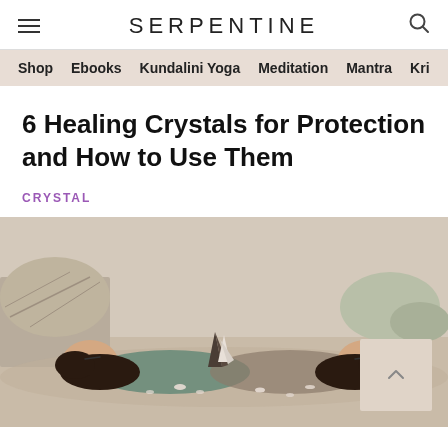SERPENTINE
Shop  Ebooks  Kundalini Yoga  Meditation  Mantra  Kri
6 Healing Crystals for Protection and How to Use Them
CRYSTAL
[Figure (photo): Two women lying on the ground in a desert landscape with crystals placed between them. They have dark hair, eyes closed, and are wearing athletic wear. Sandy ground with scrubby desert plants in background.]